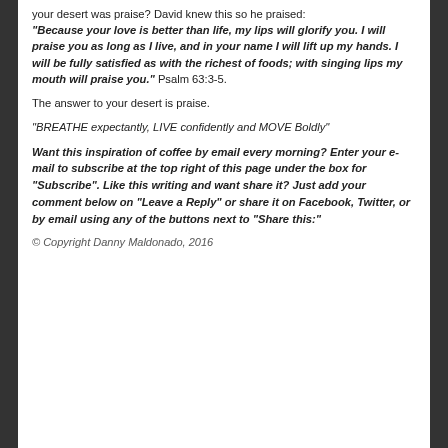your desert was praise? David knew this so he praised: “Because your love is better than life, my lips will glorify you. I will praise you as long as I live, and in your name I will lift up my hands. I will be fully satisfied as with the richest of foods; with singing lips my mouth will praise you.” Psalm 63:3-5.
The answer to your desert is praise.
“BREATHE expectantly, LIVE confidently and MOVE Boldly”
Want this inspiration of coffee by email every morning? Enter your e-mail to subscribe at the top right of this page under the box for “Subscribe”. Like this writing and want share it? Just add your comment below on “Leave a Reply” or share it on Facebook, Twitter, or by email using any of the buttons next to “Share this:”
© Copyright Danny Maldonado, 2016